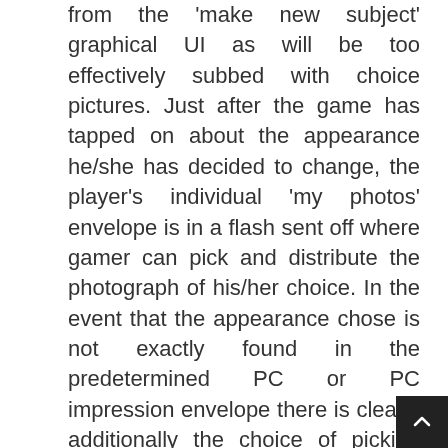from the 'make new subject' graphical UI as will be too effectively subbed with choice pictures. Just after the game has tapped on about the appearance he/she has decided to change, the player's individual 'my photos' envelope is in a flash sent off where gamer can pick and distribute the photograph of his/her choice. In the event that the appearance chose is not exactly found in the predetermined PC or PC impression envelope there is clearly additionally the choice of picking any registry site 🄱🄲🄳🄴🄵🄶🄷🄸🄹 providing it incorporates a picture. There are no appearance aspect limitations and players can alter all illustrations along with the significant signs supervisor. This specific instrument is easy to use and allows the competitor to pick favored part of the favored picture.